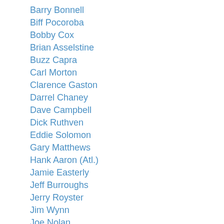Barry Bonnell
Biff Pocoroba
Bobby Cox
Brian Asselstine
Buzz Capra
Carl Morton
Clarence Gaston
Darrel Chaney
Dave Campbell
Dick Ruthven
Eddie Solomon
Gary Matthews
Hank Aaron (Atl.)
Jamie Easterly
Jeff Burroughs
Jerry Royster
Jim Wynn
Joe Nolan
John Smoltz
Mike Beard